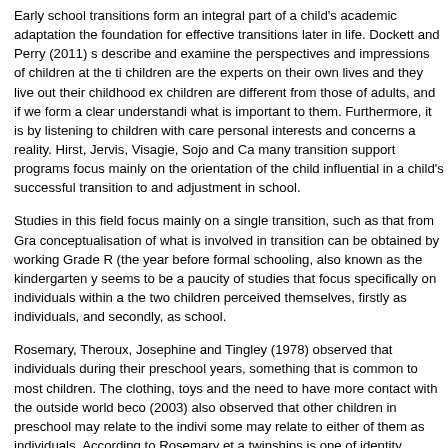Early school transitions form an integral part of a child's academic adaptation the foundation for effective transitions later in life. Dockett and Perry (2011) s describe and examine the perspectives and impressions of children at the ti children are the experts on their own lives and they live out their childhood ex children are different from those of adults, and if we form a clear understandi what is important to them. Furthermore, it is by listening to children with care personal interests and concerns a reality. Hirst, Jervis, Visagie, Sojo and Ca many transition support programs focus mainly on the orientation of the child influential in a child's successful transition to and adjustment in school.
Studies in this field focus mainly on a single transition, such as that from Gra conceptualisation of what is involved in transition can be obtained by working Grade R (the year before formal schooling, also known as the kindergarten y seems to be a paucity of studies that focus specifically on individuals within a the two children perceived themselves, firstly as individuals, and secondly, as school.
Rosemary, Theroux, Josephine and Tingley (1978) observed that individuals during their preschool years, something that is common to most children. The clothing, toys and the need to have more contact with the outside world beco (2003) also observed that other children in preschool may relate to the indivi some may relate to either of them as individuals. According to Rosemary et a twinships is one of identity formation. These characteristics and the similaritie examined from the points of view of the two children and the other participan Grade 1 and Grade 2 teachers. We were mainly concerned with the feelings, made these transitions, based on their own utterances as well as the observa
Moos and Schaefer's (1993) coping process framework was used as genera emphasises two important factors appropriate to this study. Firstly, it emphas transient situational factors shapes the coping efforts of individuals (Zeidner a